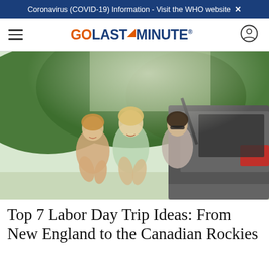Coronavirus (COVID-19) Information - Visit the WHO website ×
[Figure (logo): GoLastMinute logo with hamburger menu and user icon]
[Figure (photo): Three young women sitting on the open trunk of a car, smiling and laughing, with green forested hills in the background]
Top 7 Labor Day Trip Ideas: From New England to the Canadian Rockies